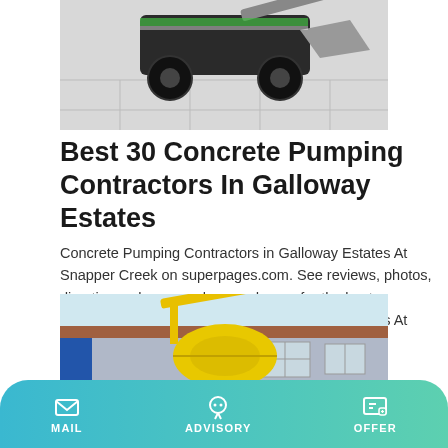[Figure (photo): Green and black construction loader/skid steer machine with a bucket, photographed against a light grey tiled floor background.]
Best 30 Concrete Pumping Contractors In Galloway Estates
Concrete Pumping Contractors in Galloway Estates At Snapper Creek on superpages.com. See reviews, photos, directions, phone numbers and more for the best Concrete Pumping Contractors in Galloway Estates At Snapper Creek, Miami, FL.
[Figure (other): Learn More button — teal/cyan colored rectangular button with white text.]
[Figure (photo): Yellow concrete mixer truck or pumping equipment photographed in front of a light blue/grey building with tiled roof and windows.]
MAIL   ADVISORY   OFFER